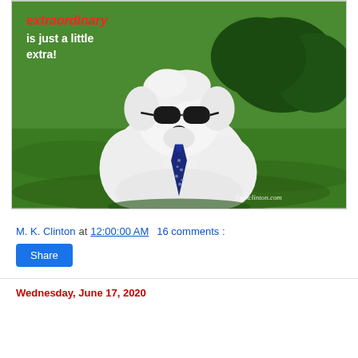[Figure (photo): A white fluffy dog (Westie) wearing sunglasses and a navy blue polka-dot tie, sitting on green grass. Text overlay reads 'extraordinary is just a little extra!' with 'extraordinary' in red italic and the rest in white bold. Watermark reads '©mkclinton.com'.]
M. K. Clinton at 12:00:00 AM   16 comments :
Share
Wednesday, June 17, 2020